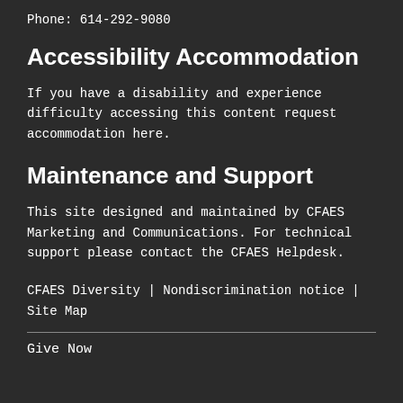Phone: 614-292-9080
Accessibility Accommodation
If you have a disability and experience difficulty accessing this content request accommodation here.
Maintenance and Support
This site designed and maintained by CFAES Marketing and Communications. For technical support please contact the CFAES Helpdesk.
CFAES Diversity  |  Nondiscrimination notice  |  Site Map
Give Now